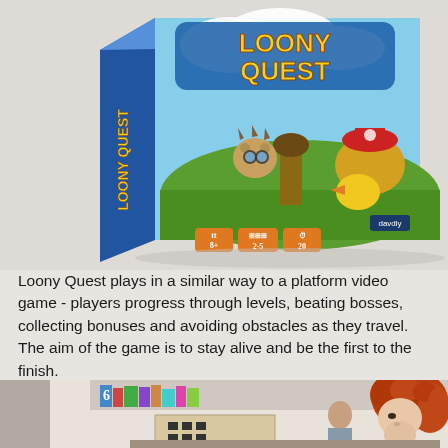[Figure (photo): Board game box for 'Loony Quest' showing colorful cartoon characters including a mouse and bird-like creature in a platformer game setting. Box shows age rating 8+, 2-5 players, 20 minutes play time.]
Loony Quest plays in a similar way to a platform video game - players progress through levels, beating bosses, collecting bonuses and avoiding obstacles as they travel. The aim of the game is to stay alive and be the first to the finish.
[Figure (photo): A child with curly red/auburn hair playing the Loony Quest board game, which appears to involve drawing on transparent sheets placed over game boards. Various game components visible on the table.]